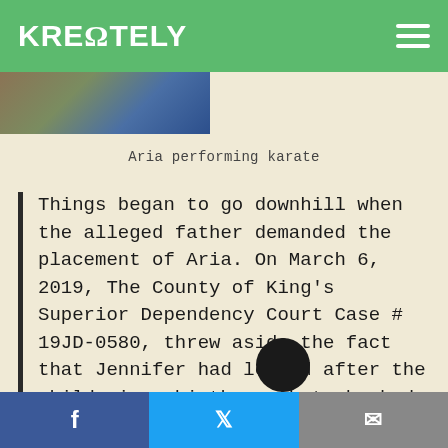KREΩTELY
[Figure (photo): Partial image strip visible at top of page, showing a person performing karate]
Aria performing karate
Things began to go downhill when the alleged father demanded the placement of Aria. On March 6, 2019, The County of King's Superior Dependency Court Case # 19JD-0580, threw aside the fact that Jennifer had looked after the child since birth or that she had tended to the child's special needs. The court paid no heed to the sacrifices Jennifer and her husband who are both USA militar